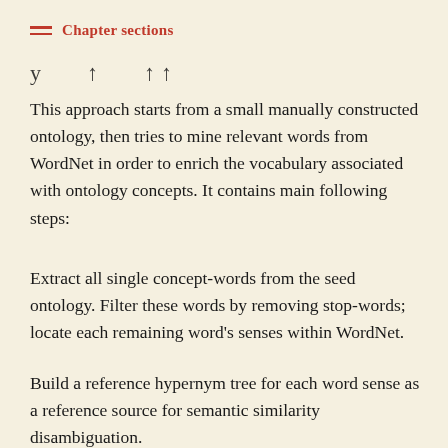Chapter sections
This approach starts from a small manually constructed ontology, then tries to mine relevant words from WordNet in order to enrich the vocabulary associated with ontology concepts. It contains main following steps:
Extract all single concept-words from the seed ontology. Filter these words by removing stop-words; locate each remaining word's senses within WordNet.
Build a reference hypernym tree for each word sense as a reference source for semantic similarity disambiguation.